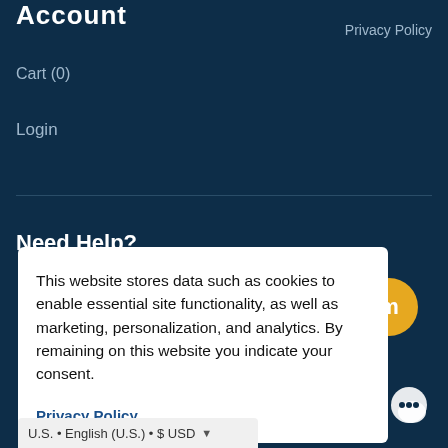Account
Privacy Policy
Cart (0)
Login
Need Help?
This website stores data such as cookies to enable essential site functionality, as well as marketing, personalization, and analytics. By remaining on this website you indicate your consent.
Privacy Policy
U.S. • English (U.S.) • $ USD